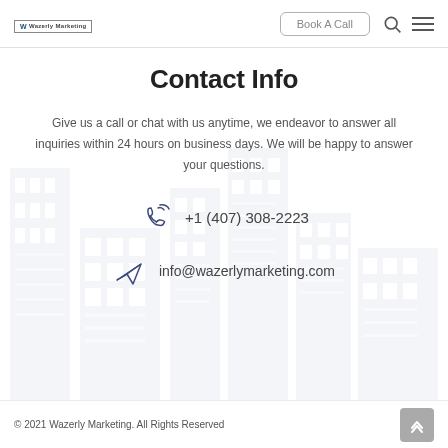Wazerly Marketing | Book A Call
Contact Info
Give us a call or chat with us anytime, we endeavor to answer all inquiries within 24 hours on business days. We will be happy to answer your questions.
+1 (407) 308-2223
info@wazerlymarketing.com
© 2021 Wazerly Marketing. All Rights Reserved